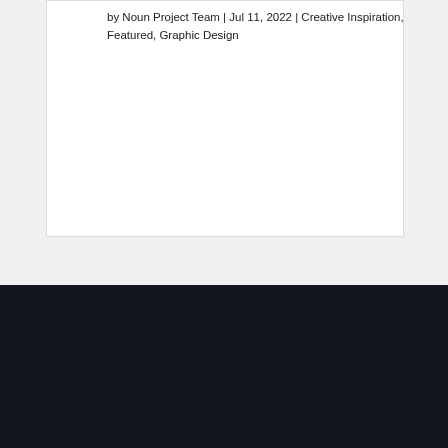by Noun Project Team | Jul 11, 2022 | Creative Inspiration, Featured, Graphic Design
[Figure (logo): Noun Project logo with circle, X, square icons and text 'Noun Project' in white on dark background]
[Figure (other): Social media icons: Twitter, Facebook, Instagram, Dribbble — white icons on dark circular buttons]